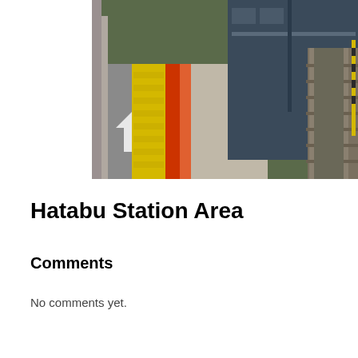[Figure (photo): Photo of a train station platform showing yellow tactile paving strips at the platform edge, red and orange decorative band, a train/locomotive on the right, railway tracks on the far right, and a grey concrete platform surface with white directional arrows. The image is cropped at the top, showing only the lower portion of the station scene.]
Hatabu Station Area
Comments
No comments yet.